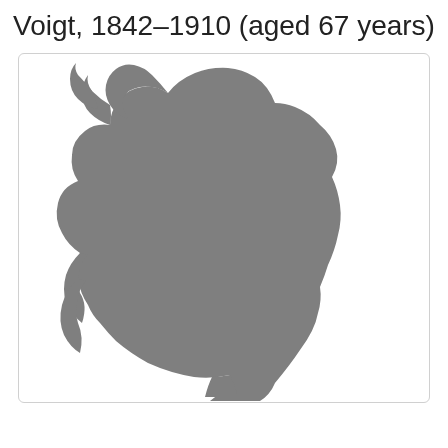Voigt, 1842–1910 (aged 67 years)
[Figure (illustration): Silhouette profile portrait of a woman with hair styled up in a bun, facing slightly left, shown from shoulders up. The figure is rendered as a solid grey silhouette against a white background.]